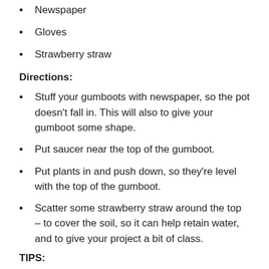Newspaper
Gloves
Strawberry straw
Directions:
Stuff your gumboots with newspaper, so the pot doesn't fall in. This will also to give your gumboot some shape.
Put saucer near the top of the gumboot.
Put plants in and push down, so they're level with the top of the gumboot.
Scatter some strawberry straw around the top – to cover the soil, so it can help retain water, and to give your project a bit of class.
TIPS:
If you use plants to match all the colours, you can to smell...